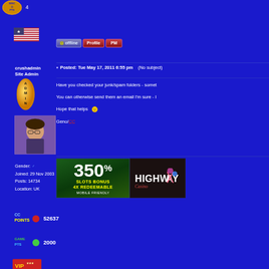[Figure (screenshot): Forum post page for a bingo/casino community website. Left sidebar shows user info for 'crushadmin' (Site Admin) with avatar, flags, badges, points. Right area shows a forum post dated Tue May 17, 2011 6:55 pm with message about checking junk/spam folders. Bottom has casino ad banners.]
4
[Figure (illustration): US flag icon]
crushadmin
Site Admin
[Figure (illustration): Orange oval ADMIN badge]
[Figure (photo): Avatar photo of a person with dark hair and glasses]
offline
Profile
PM
Posted: Tue May 17, 2011 6:55 pm    (No subject)
Have you checked your junk/spam folders - somet
You can otherwise send them an email I'm sure - I
Hope that helps
Geno/CC
[Figure (illustration): Casino ad banner: 350% SLOTS BONUS 4X REDEEMABLE MOBILE FRIENDLY]
[Figure (illustration): Highway Casino ad banner]
Gender: Male
Joined: 29 Nov 2003
Posts: 14734
Location: UK
52637
2000